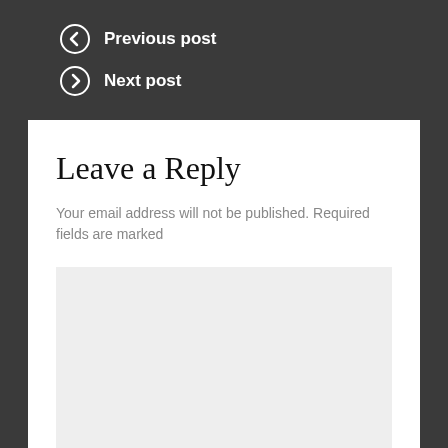← Previous post
→ Next post
Leave a Reply
Your email address will not be published. Required fields are marked
[Figure (other): Empty light grey textarea/comment input box]